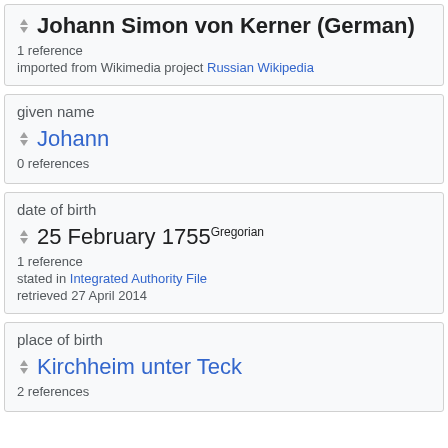Johann Simon von Kerner (German)
1 reference
imported from Wikimedia project Russian Wikipedia
given name
Johann
0 references
date of birth
25 February 1755 Gregorian
1 reference
stated in Integrated Authority File
retrieved 27 April 2014
place of birth
Kirchheim unter Teck
2 references